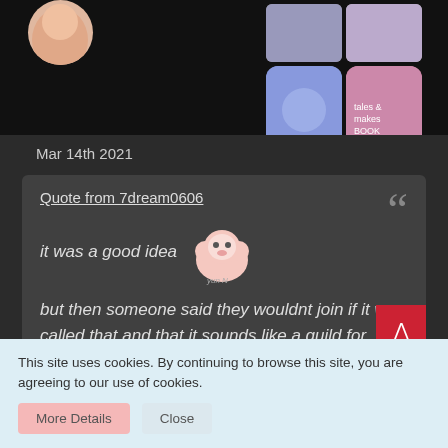[Figure (screenshot): Top portion of a forum/blog page showing a dark header area with user avatar and thumbnail image grid on a black background]
Mar 14th 2021
Quote from 7dream0606

it was a good idea

but then someone said they wouldnt join if it was called that and that it sounds like a guild for moms
This site uses cookies. By continuing to browse this site, you are agreeing to our use of cookies.